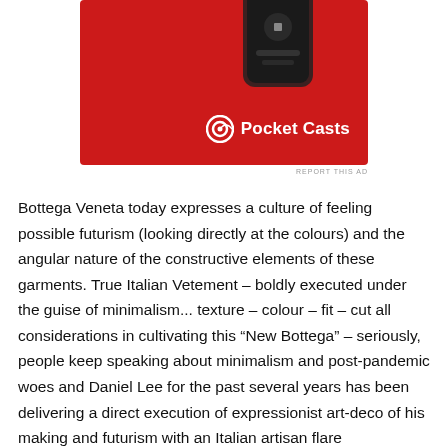[Figure (screenshot): Red advertisement banner for Pocket Casts app showing a red phone device against a red background, with Pocket Casts logo and text in white on the bottom right]
REPORT THIS AD
Bottega Veneta today expresses a culture of feeling possible futurism (looking directly at the colours) and the angular nature of the constructive elements of these garments. True Italian Vetement – boldly executed under the guise of minimalism... texture – colour – fit – cut all considerations in cultivating this “New Bottega” – seriously, people keep speaking about minimalism and post-pandemic woes and Daniel Lee for the past several years has been delivering a direct execution of expressionist art-deco of his making and futurism with an Italian artisan flare